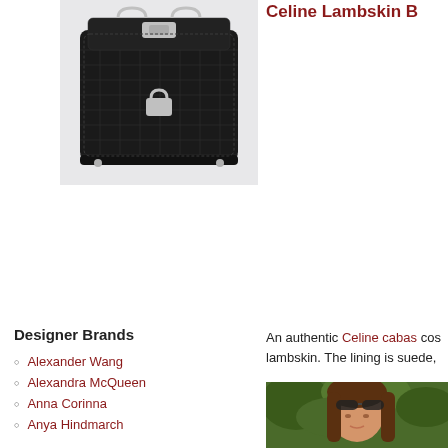[Figure (photo): Dark crocodile leather Birkin-style handbag with silver hardware on white background]
Celine Lambskin
Designer Brands
Alexander Wang
Alexandra McQueen
Anna Corinna
Anya Hindmarch
Balenciaga
Bally
An authentic Celine cabas cos lambskin. The lining is suede,
[Figure (photo): Young woman with long brown hair and sunglasses on head against green background]